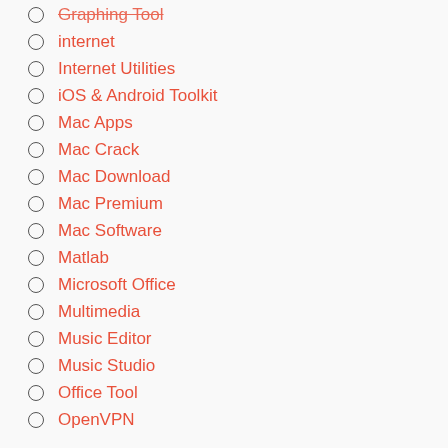Graphing Tool
internet
Internet Utilities
iOS & Android Toolkit
Mac Apps
Mac Crack
Mac Download
Mac Premium
Mac Software
Matlab
Microsoft Office
Multimedia
Music Editor
Music Studio
Office Tool
OpenVPN